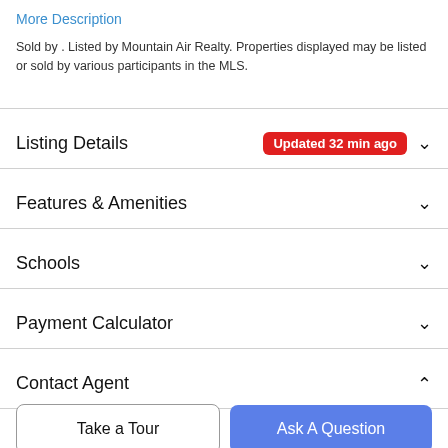More Description
Sold by . Listed by Mountain Air Realty. Properties displayed may be listed or sold by various participants in the MLS.
Listing Details  Updated 32 min ago
Features & Amenities
Schools
Payment Calculator
Contact Agent